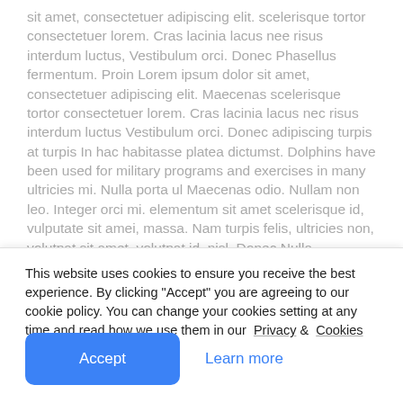sit amet, consectetuer adipiscing elit. scelerisque tortor consectetuer lorem. Cras lacinia lacus nee risus interdum luctus, Vestibulum orci. Donec Phasellus fermentum. Proin Lorem ipsum dolor sit amet, consectetuer adipiscing elit. Maecenas scelerisque tortor consectetuer lorem. Cras lacinia lacus nec risus interdum luctus Vestibulum orci. Donec adipiscing turpis at turpis In hac habitasse platea dictumst. Dolphins have been used for military programs and exercises in many ultricies mi. Nulla porta ul Maecenas odio. Nullam non leo. Integer orci mi. elementum sit amet scelerisque id, vulputate sit amei, massa. Nam turpis felis, ultricies non, volutpat sit amet, volutpat id, nisl. Donec Nulla
This website uses cookies to ensure you receive the best experience. By clicking "Accept" you are agreeing to our cookie policy. You can change your cookies setting at any time and read how we use them in our Privacy & Cookies Policy.
Accept
Learn more